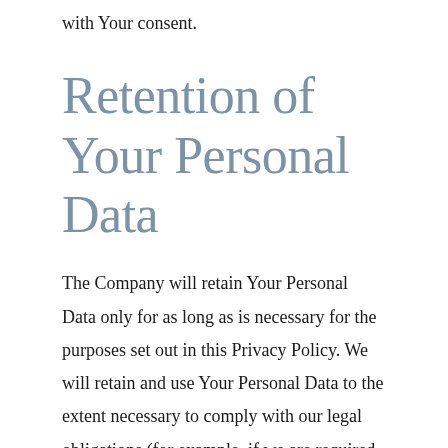with Your consent.
Retention of Your Personal Data
The Company will retain Your Personal Data only for as long as is necessary for the purposes set out in this Privacy Policy. We will retain and use Your Personal Data to the extent necessary to comply with our legal obligations (for example, if we are required to retain your data to comply with